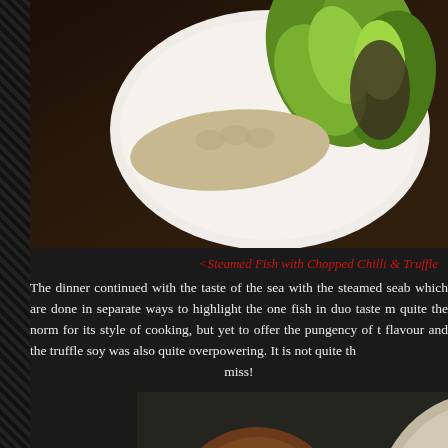[Figure (photo): Steamed fish dish with bok choy / green vegetables on a white plate, viewed from above, dark wooden table background]
<Steamed Fish with Chopped Chilli & Truffle
The dinner continued with the taste of the sea with the steamed seab which are done in separate ways to highlight the one fish in duo taste m quite the norm for its style of cooking, but yet to offer the pungency of t flavour and the truffle soy was also quite overpowering. It is not quite th miss!
[Figure (photo): Overhead view of multiple dishes on a dark table including small bowls with dumplings, a round dish with green garnish and dark sauce, and other food items with orange garnish]